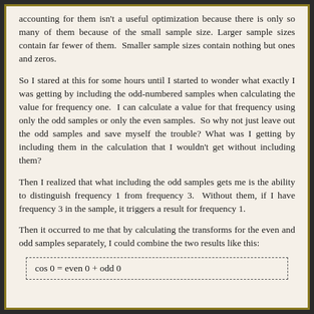accounting for them isn't a useful optimization because there is only so many of them because of the small sample size. Larger sample sizes contain far fewer of them. Smaller sample sizes contain nothing but ones and zeros.
So I stared at this for some hours until I started to wonder what exactly I was getting by including the odd-numbered samples when calculating the value for frequency one. I can calculate a value for that frequency using only the odd samples or only the even samples. So why not just leave out the odd samples and save myself the trouble? What was I getting by including them in the calculation that I wouldn't get without including them?
Then I realized that what including the odd samples gets me is the ability to distinguish frequency 1 from frequency 3. Without them, if I have frequency 3 in the sample, it triggers a result for frequency 1.
Then it occurred to me that by calculating the transforms for the even and odd samples separately, I could combine the two results like this: